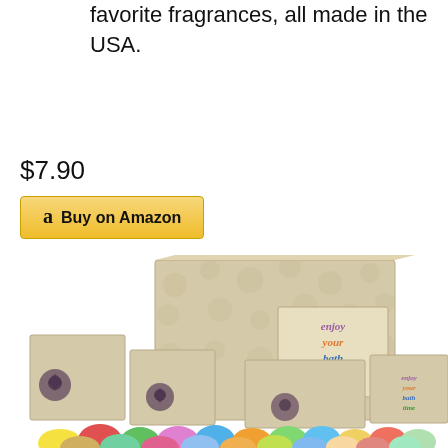favorite fragrances, all made in the USA.
$7.90
[Figure (screenshot): Amazon 'Buy on Amazon' button with golden/yellow background and Amazon 'a' logo]
[Figure (photo): Product photo showing multiple beige gift boxes with rose pattern and 'enjoy your bath time' text, along with colorful bath bombs at the bottom]